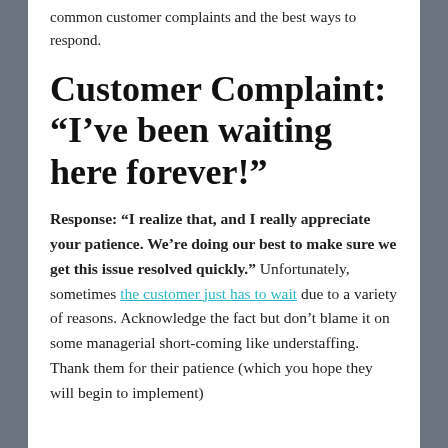common customer complaints and the best ways to respond.
Customer Complaint: “I’ve been waiting here forever!”
Response: “I realize that, and I really appreciate your patience. We’re doing our best to make sure we get this issue resolved quickly.” Unfortunately, sometimes the customer just has to wait due to a variety of reasons. Acknowledge the fact but don’t blame it on some managerial short-coming like understaffing. Thank them for their patience (which you hope they will begin to implement)